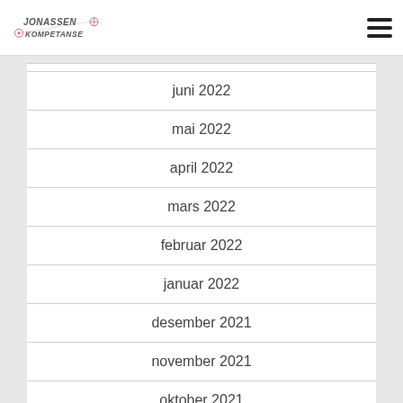Jonassen Kompetanse
juni 2022
mai 2022
april 2022
mars 2022
februar 2022
januar 2022
desember 2021
november 2021
oktober 2021
september 2021